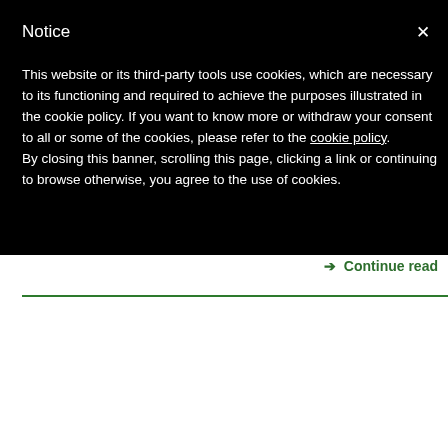Notice
This website or its third-party tools use cookies, which are necessary to its functioning and required to achieve the purposes illustrated in the cookie policy. If you want to know more or withdraw your consent to all or some of the cookies, please refer to the cookie policy.
By closing this banner, scrolling this page, clicking a link or continuing to browse otherwise, you agree to the use of cookies.
→ Continue read